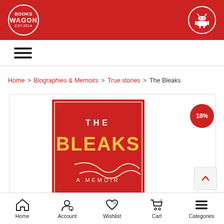BooksWagon header with logo and Android app icon
≡ (hamburger menu)
Home > Biographies & Memoirs > True stories > The Bleaks
[Figure (photo): Book cover of 'The Bleaks: A Memoir' on red background with 18% discount badge]
Home | Account | Wishlist | Cart | Categories